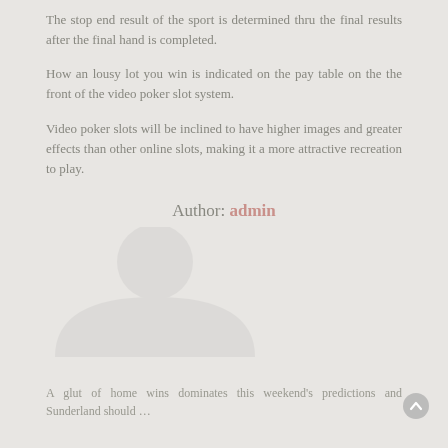The stop end result of the sport is determined thru the final results after the final hand is completed.
How an lousy lot you win is indicated on the pay table on the the front of the video poker slot system.
Video poker slots will be inclined to have higher images and greater effects than other online slots, making it a more attractive recreation to play.
Author: admin
[Figure (illustration): Large faded grey user/avatar silhouette icon in the lower left area of the page]
A glut of home wins dominates this weekend's predictions and Sunderland should …